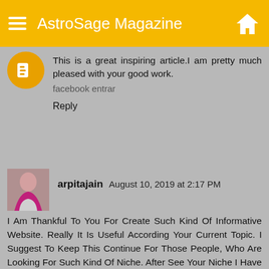AstroSage Magazine
This is a great inspiring article.I am pretty much pleased with your good work.
facebook entrar
Reply
arpitajain August 10, 2019 at 2:17 PM
I Am Thankful To You For Create Such Kind Of Informative Website. Really It Is Useful According Your Current Topic. I Suggest To Keep This Continue For Those People, Who Are Looking For Such Kind Of Niche. After See Your Niche I Have Recommended Your Website With My Friends Also.
I am Arpita Jain. I run my own Mumbai Hotel Sex . We provide escort services in low cost according the current market price. Our service is super, because we know very well the personal requirement of our each customer. We are comfortable to provide our Andheri Escorts Service at your